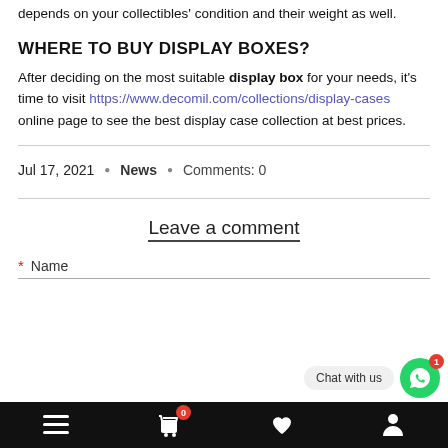Lastly, it would help if you decided where to place your display box. This decision depends on your collectibles' condition and their weight as well.
WHERE TO BUY DISPLAY BOXES?
After deciding on the most suitable display box for your needs, it's time to visit https://www.decomil.com/collections/display-cases online page to see the best display case collection at best prices.
Jul 17, 2021  *  News  *  Comments: 0
Leave a comment
* Name